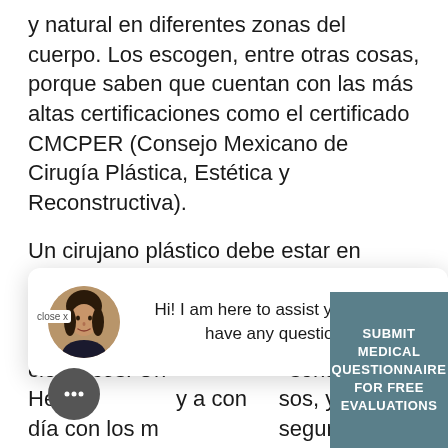y natural en diferentes zonas del cuerpo. Los escogen, entre otras cosas, porque saben que cuentan con las más altas certificaciones como el certificado CMCPER (Consejo Mexicano de Cirugía Plástica, Estética y Reconstructiva).
Un cirujano plástico debe estar en preparación constante debido a que muchos procedimientos tienen constantes mejoras y científicos. Un ... señalado por Health ... y a congresos, y estar al día con los más seguros e innovadores en su esp... Además, el CMCPER en base a la preparación
close X
Hi! I am here to assist you, do you have any questions?
SUBMIT MEDICAL QUESTIONNAIRE FOR FREE EVALUATIONS